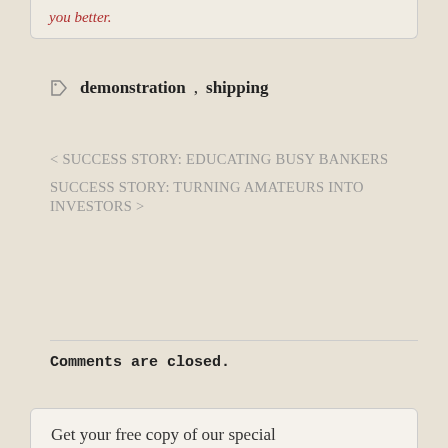you better.
🏷 demonstration, shipping
< SUCCESS STORY: EDUCATING BUSY BANKERS
SUCCESS STORY: TURNING AMATEURS INTO INVESTORS >
Comments are closed.
Get your free copy of our special